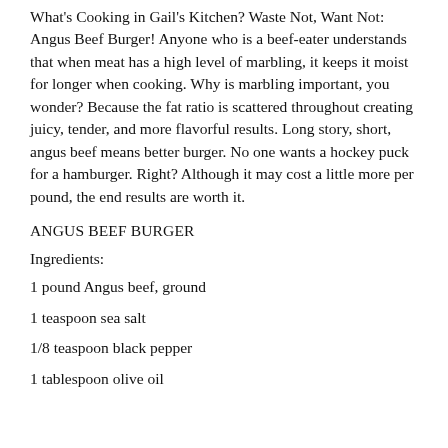What's Cooking in Gail's Kitchen? Waste Not, Want Not: Angus Beef Burger! Anyone who is a beef-eater understands that when meat has a high level of marbling, it keeps it moist for longer when cooking. Why is marbling important, you wonder? Because the fat ratio is scattered throughout creating juicy, tender, and more flavorful results. Long story, short, angus beef means better burger. No one wants a hockey puck for a hamburger. Right? Although it may cost a little more per pound, the end results are worth it.
ANGUS BEEF BURGER
Ingredients:
1 pound Angus beef, ground
1 teaspoon sea salt
1/8 teaspoon black pepper
1 tablespoon olive oil